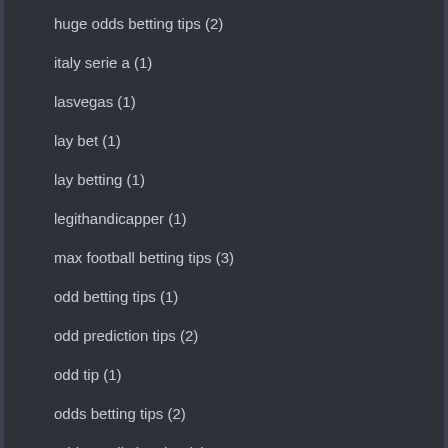huge odds betting tips (2)
italy serie a (1)
lasvegas (1)
lay bet (1)
lay betting (1)
legithandicapper (1)
max football betting tips (3)
odd betting tips (1)
odd prediction tips (2)
odd tip (1)
odds betting tips (2)
odds prediction tips (2)
odds tip (2)
odds tips (2)